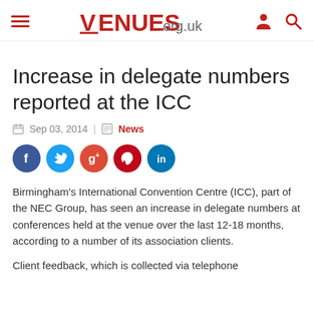VENUES.org.uk
Increase in delegate numbers reported at the ICC
Sep 03, 2014 | News
[Figure (illustration): Social media share buttons: Facebook, Twitter, Google+, Pinterest, LinkedIn]
Birmingham's International Convention Centre (ICC), part of the NEC Group, has seen an increase in delegate numbers at conferences held at the venue over the last 12-18 months, according to a number of its association clients.
Client feedback, which is collected via telephone